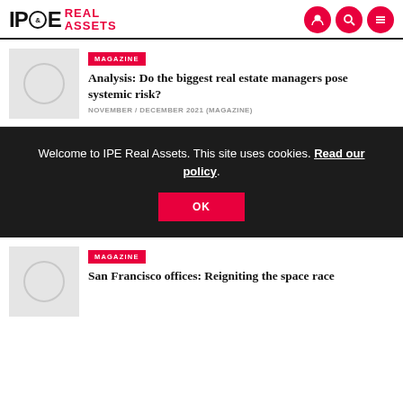IPE Real Assets
MAGAZINE
Analysis: Do the biggest real estate managers pose systemic risk?
NOVEMBER / DECEMBER 2021 (MAGAZINE)
Welcome to IPE Real Assets. This site uses cookies. Read our policy.
OK
MAGAZINE
San Francisco offices: Reigniting the space race